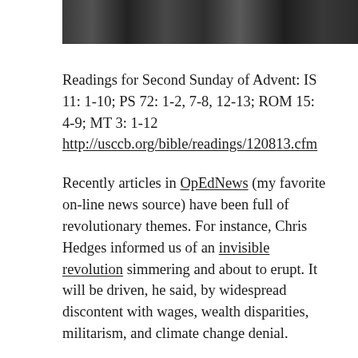[Figure (photo): A photograph showing figures against a blurred background, cropped at the top of the page.]
Readings for Second Sunday of Advent: IS 11: 1-10; PS 72: 1-2, 7-8, 12-13; ROM 15: 4-9; MT 3: 1-12 http://usccb.org/bible/readings/120813.cfm
Recently articles in OpEdNews (my favorite on-line news source) have been full of revolutionary themes. For instance, Chris Hedges informed us of an invisible revolution simmering and about to erupt. It will be driven, he said, by widespread discontent with wages, wealth disparities, militarism, and climate change denial.
Then in his viral BBC interview, comedian Russell Brand called for revolution stimulated by everyone's recognition of the futility of politics as we know it. No one should vote, he said; the system is too broken to be improved at the ballot box.